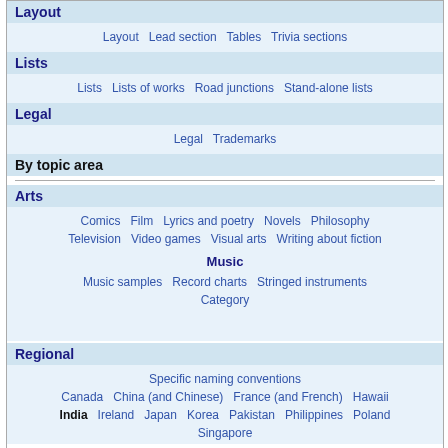Layout
Layout Lead section Tables Trivia sections
Lists
Lists Lists of works Road junctions Stand-alone lists
Legal
Legal Trademarks
By topic area
Arts
Comics Film Lyrics and poetry Novels Philosophy Television Video games Visual arts Writing about fiction
Music
Music samples Record charts Stringed instruments Category
Regional
Specific naming conventions Canada China (and Chinese) France (and French) Hawaii India Ireland Japan Korea Pakistan Philippines Poland Singapore